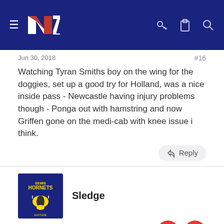NZ Rugby League forum header
Jun 30, 2018  #16
Watching Tyran Smiths boy on the wing for the doggies, set up a good try for Holland, was a nice inside pass - Newcastle having injury problems though - Ponga out with hamstring and now Griffen gone on the medi-cab with knee issue i think.
Sledge
Jun 30, 2018  #17
Hopefully Ponga out for SOO